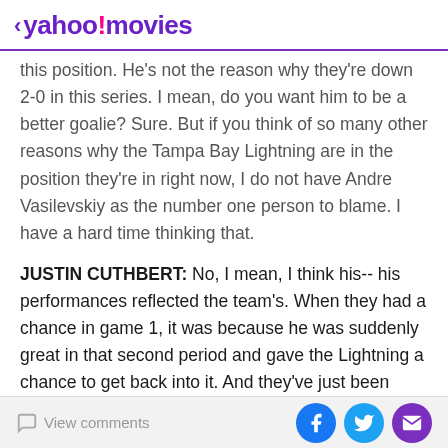< yahoo!movies
this position. He's not the reason why they're down 2-0 in this series. I mean, do you want him to be a better goalie? Sure. But if you think of so many other reasons why the Tampa Bay Lightning are in the position they're in right now, I do not have Andre Vasilevskiy as the number one person to blame. I have a hard time thinking that.
JUSTIN CUTHBERT: No, I mean, I think his-- his performances reflected the team's. When they had a chance in game 1, it was because he was suddenly great in that second period and gave the Lightning a chance to get back into it. And they've just been outperformed the entire series, and the fact that they gave up 7 is more
View comments